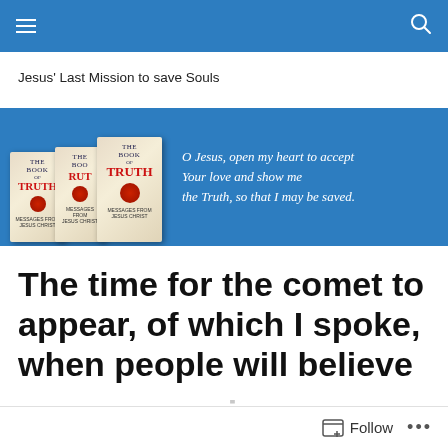Navigation bar with menu and search icons
Jesus' Last Mission to save Souls
[Figure (illustration): Banner with three Book of Truth book covers on a blue background with italic text: O Jesus, open my heart to accept Your love and show me the Truth, so that I may be saved.]
The time for the comet to appear, of which I spoke, when people will believe that there
Follow ...